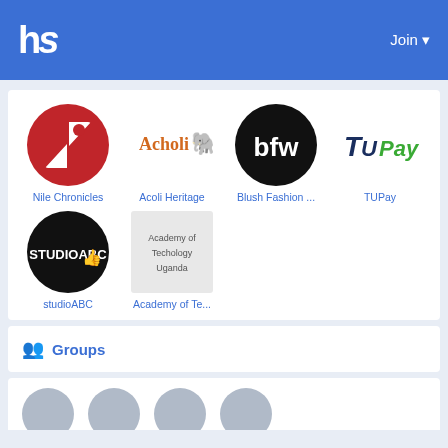hs   Join
[Figure (logo): Nile Chronicles - red circle with white N icon]
Nile Chronicles
[Figure (logo): Acholi Heritage - text logo with elephant]
Acoli Heritage
[Figure (logo): bfw - white text on black circle]
Blush Fashion ...
[Figure (logo): TUPay - green and dark blue text logo]
TUPay
[Figure (logo): studioABC - white text on black circle]
studioABC
[Figure (illustration): Academy of Technology Uganda placeholder image]
Academy of Te...
Groups